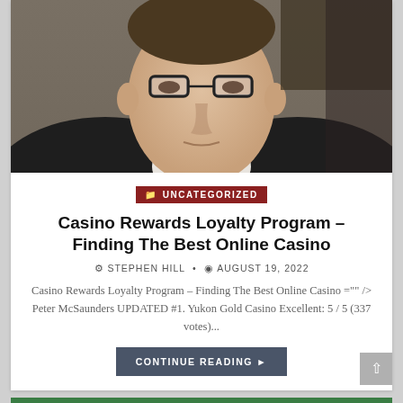[Figure (photo): Close-up photo of a middle-aged man with glasses, wearing a dark jacket and white shirt, cropped from the shoulders up]
UNCATEGORIZED
Casino Rewards Loyalty Program – Finding The Best Online Casino
STEPHEN HILL • AUGUST 19, 2022
Casino Rewards Loyalty Program – Finding The Best Online Casino ="" /> Peter McSaunders UPDATED #1. Yukon Gold Casino Excellent: 5 / 5 (337 votes)...
CONTINUE READING ▶